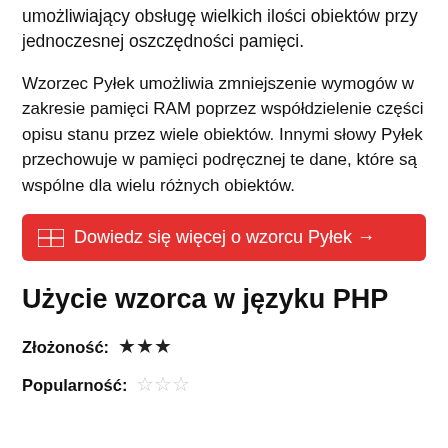umożliwiający obsługę wielkich ilości obiektów przy jednoczesnej oszczędności pamięci.
Wzorzec Pyłek umożliwia zmniejszenie wymogów w zakresie pamięci RAM poprzez współdzielenie części opisu stanu przez wiele obiektów. Innymi słowy Pyłek przechowuje w pamięci podręcznej te dane, które są wspólne dla wielu różnych obiektów.
Dowiedz się więcej o wzorcu Pyłek →
Użycie wzorca w języku PHP
Złożoność: ★★★
Popularność: ☆☆☆